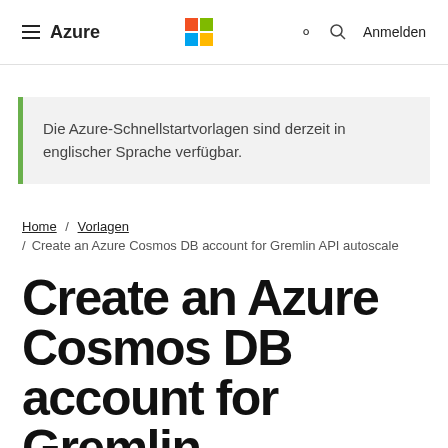Azure | [Microsoft Logo] | [Search] | Anmelden
Die Azure-Schnellstartvorlagen sind derzeit in englischer Sprache verfügbar.
Home / Vorlagen / Create an Azure Cosmos DB account for Gremlin API autoscale
Create an Azure Cosmos DB account for Gremlin API autoscale